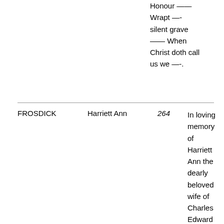Honour —— Wrapt —- silent grave —— When Christ doth call us we —-.
| Surname | Name | Num | Description |
| --- | --- | --- | --- |
| FROSDICK | Harriett Ann | 264 | In loving memory of Harriett Ann the dearly beloved wife of Charles Edward Frosdick who died August |